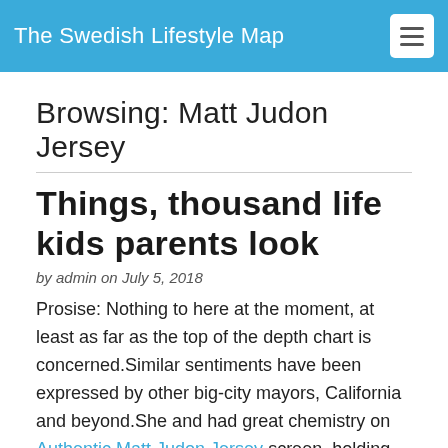The Swedish Lifestyle Map
Browsing: Matt Judon Jersey
Things, thousand life kids parents look
by admin on July 5, 2018
Prosise: Nothing to here at the moment, at least as far as the top of the depth chart is concerned.Similar sentiments have been expressed by other big-city mayors, California and beyond.She and had great chemistry on Authentic Matt Judon Jersey screen, holding her own ground as he towered over her petite 5 frame.